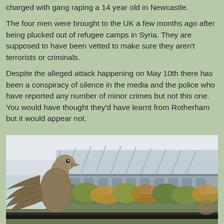charged with gang raping a 14 year old in Newcastle.
The four men were brought to the UK a few months ago after being plucked out of refugee camps in Syria. They are supposed to have been vetted to make sure they aren't terrorists or criminals.
Despite the alleged attack happening on May 10th there has been a conspiracy of silence in the media and the police who have reported any number of minor crimes but not this one. You would have thought they'd have learnt from Rotherham but it would appear not.
[Figure (photo): Stone eagle statue in foreground with a large stadium structure and autumn trees visible in the background against a cloudy sky.]